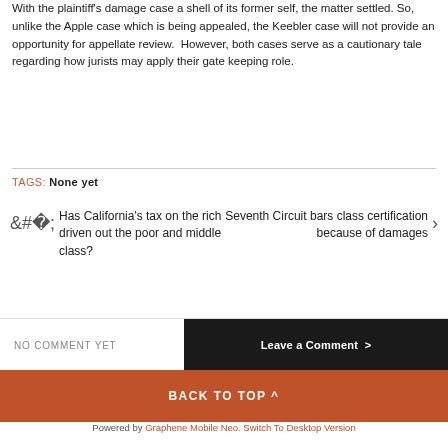With the plaintiff's damage case a shell of its former self, the matter settled. So, unlike the Apple case which is being appealed, the Keebler case will not provide an opportunity for appellate review. However, both cases serve as a cautionary tale regarding how jurists may apply their gate keeping role.
TAGS: None yet
Has California's tax on the rich driven out the poor and middle class?
Seventh Circuit bars class certification because of damages
NO COMMENT YET
Leave a Comment >
BACK TO TOP ^
Powered by Graphene Mobile Neo. Switch To Desktop Version